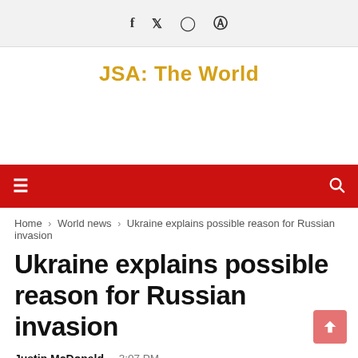f  y  (instagram icon)  (pinterest icon)
JSA: The World
[Figure (other): Advertisement/empty space placeholder]
hamburger menu icon | search icon (red navigation bar)
Home > World news > Ukraine explains possible reason for Russian invasion
Ukraine explains possible reason for Russian invasion
Justin McDonald  -  3:07 PM